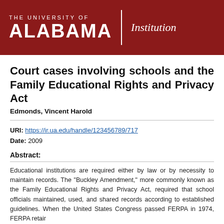[Figure (logo): University of Alabama institutional repository header banner with dark red background, UA logo on left, vertical white divider, and 'Institution' text on right]
Court cases involving schools and the Family Educational Rights and Privacy Act
Edmonds, Vincent Harold
URI: https://ir.ua.edu/handle/123456789/717
Date: 2009
Abstract:
Educational institutions are required either by law or by necessity to maintain records. The "Buckley Amendment," more commonly known as the Family Educational Rights and Privacy Act (FERPA), required that school officials maintained, used, and shared records according to established guidelines. When the United States Congress passed FERPA in 1974, FERPA retained